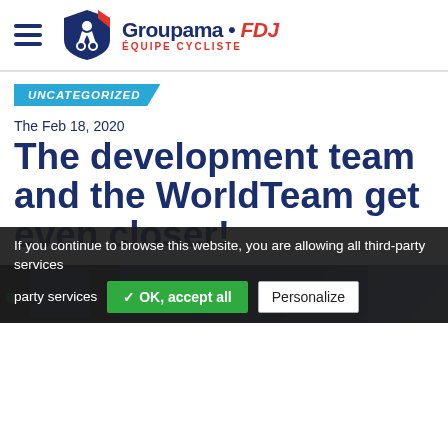Groupama · FDJ ÉQUIPE CYCLISTE
UNCATEGORIZED
The Feb 18, 2020
The development team and the WorldTeam get even closer!
[Figure (photo): Partial photo of cyclists in blue team kit]
If you continue to browse this website, you are allowing all third-party services
✓ OK, accept all
Personalize